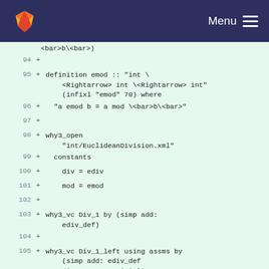[Figure (screenshot): GitLab navigation bar with fox logo and Menu hamburger icon on dark blue background]
<bar>b\<bar>)
94  +
95  + definition emod :: "int \ <Rightarrow> int \<Rightarrow> int" (infixl "emod" 70) where
96  +   "a emod b = a mod \<bar>b\<bar>"
97  +
98  + why3_open "int/EuclideanDivision.xml"
99  +   constants
100  +     div = ediv
101  +     mod = emod
102  +
103  + why3_vc Div_1 by (simp add: ediv_def)
104  +
105  + why3_vc Div_1_left using assms by (simp add: ediv_def div_pos_pos_trivial)
106  +
107  + ...